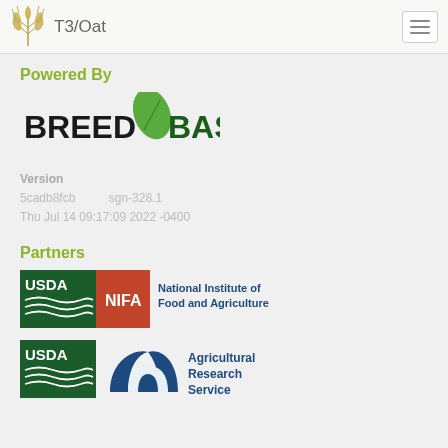T3/Oat
Powered By
[Figure (logo): BREEDBASE logo with green leaf replacing letter D]
Version
5cadb8fcb    sgn-328.1
Thu Jul 14 09:17:09 2022 -0400
Partners
[Figure (logo): USDA NIFA - National Institute of Food and Agriculture logo]
[Figure (logo): USDA Agricultural Research Service logo]